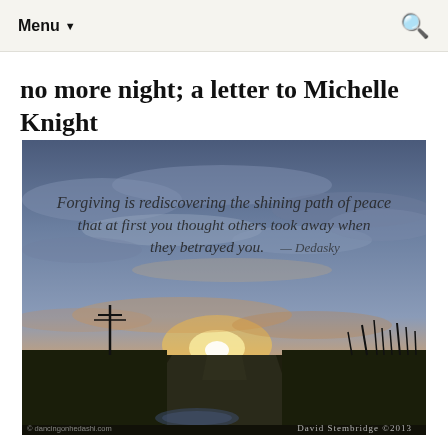Menu ▼
no more night; a letter to Michelle Knight
[Figure (photo): Sunset landscape photograph with a rural road, flatlands, clouds in twilight sky. Overlaid cursive text reads: 'Forgiving is rediscovering the shining path of peace that at first you thought others took away when they betrayed you. — Dedasky'. Bottom left watermark: '© dancingonhedashi.com'. Bottom right watermark: 'David Stembridge ©2013'.]